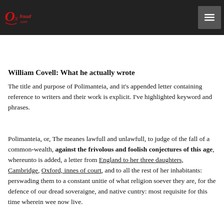Oxfraud.com [logo] [hamburger menu]
Ironically, it's the process of attributing hidden meaning to the writing of long dead literary commentators that re... latter day artifice, calling into question the credibility... claim.
William Covell: What he actually wrote
The title and purpose of Polimanteia, and it's appended letter containing reference to writers and their work is explicit. I've highlighted keyword and phrases.
Polimanteia, or, The meanes lawfull and unlawfull, to judge of the fall of a common-wealth, against the frivolous and foolish conjectures of this age, whereunto is added, a letter from England to her three daughters, Cambridge, Oxford, innes of court, and to all the rest of her inhabitants: perswading them to a constant unitie of what religion soever they are, for the defence of our dread soveraigne, and native cuntry: most requisite for this time wherein wee now live.